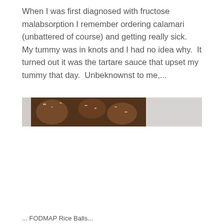When I was first diagnosed with fructose malabsorption I remember ordering calamari (unbattered of course) and getting really sick.  My tummy was in knots and I had no idea why.  It turned out it was the tartare sauce that upset my tummy that day.  Unbeknownst to me,...
[Figure (photo): Partial photo of chocolate-coated food items (possibly truffles or coconut balls) on a light surface, cropped to a horizontal strip]
... FODMAP Rice Balls...